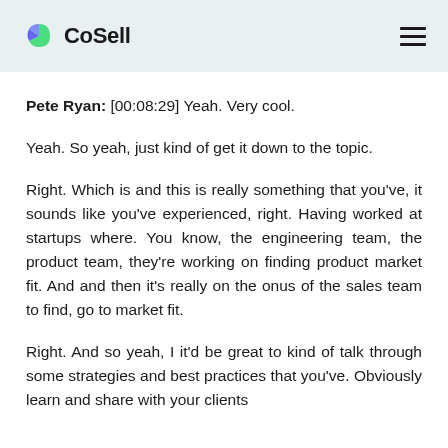CoSell
Pete Ryan: [00:08:29] Yeah. Very cool.
Yeah. So yeah, just kind of get it down to the topic.
Right. Which is and this is really something that you've, it sounds like you've experienced, right. Having worked at startups where. You know, the engineering team, the product team, they're working on finding product market fit. And and then it's really on the onus of the sales team to find, go to market fit.
Right. And so yeah, I it'd be great to kind of talk through some strategies and best practices that you've. Obviously learn and share with your clients